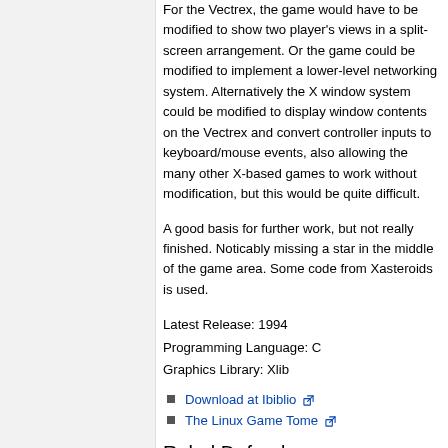For the Vectrex, the game would have to be modified to show two player's views in a split-screen arrangement. Or the game could be modified to implement a lower-level networking system. Alternatively the X window system could be modified to display window contents on the Vectrex and convert controller inputs to keyboard/mouse events, also allowing the many other X-based games to work without modification, but this would be quite difficult.
A good basis for further work, but not really finished. Noticably missing a star in the middle of the game area. Some code from Xasteroids is used.
Latest Release: 1994
Programming Language: C
Graphics Library: Xlib
Download at Ibiblio
The Linux Game Tome
Rebel Defender
[Figure (photo): Black image area at bottom of page]